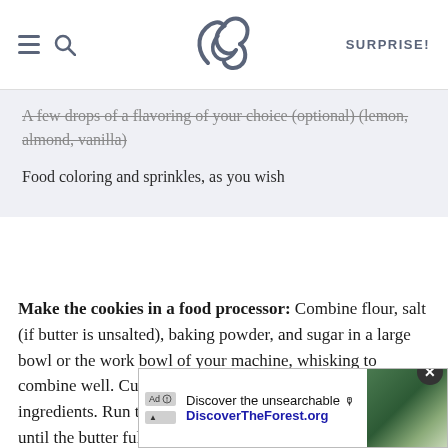SK SURPRISE!
A few drops of a flavoring of your choice (optional) (lemon, almond, vanilla)
Food coloring and sprinkles, as you wish
Make the cookies in a food processor: Combine flour, salt (if butter is unsalted), baking powder, and sugar in a large bowl or the work bowl of your machine, whisking to combine well. Cut butter into small cubes and add to dry ingredients. Run the machine, scraping down as needed, until the butter fully disappears into the flour mixture, which will look sandy and clump easily between your fingertips. Add the egg and vanilla and run the machine until it blends into a smooth dough, scraping evenly.
[Figure (screenshot): Ad banner overlay at bottom: 'Discover the unsearchable' / 'DiscoverTheForest.org' with forest image and close button]